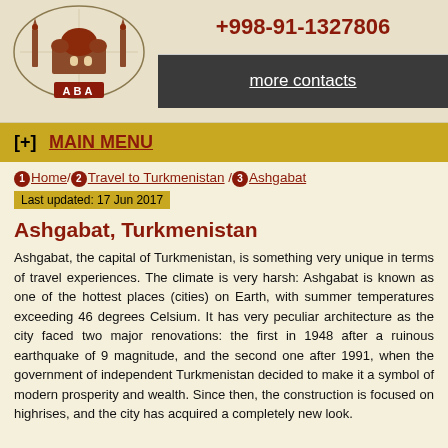[Figure (logo): ABA travel agency logo with mosque/architectural illustration inside an oval, red ABA letters at bottom]
+998-91-1327806
more contacts
[+]  MAIN MENU
Home / Travel to Turkmenistan / Ashgabat
Last updated: 17 Jun 2017
Ashgabat, Turkmenistan
Ashgabat, the capital of Turkmenistan, is something very unique in terms of travel experiences. The climate is very harsh: Ashgabat is known as one of the hottest places (cities) on Earth, with summer temperatures exceeding 46 degrees Celsium. It has very peculiar architecture as the city faced two major renovations: the first in 1948 after a ruinous earthquake of 9 magnitude, and the second one after 1991, when the government of independent Turkmenistan decided to make it a symbol of modern prosperity and wealth. Since then, the construction is focused on highrises, and the city has acquired a completely new look.